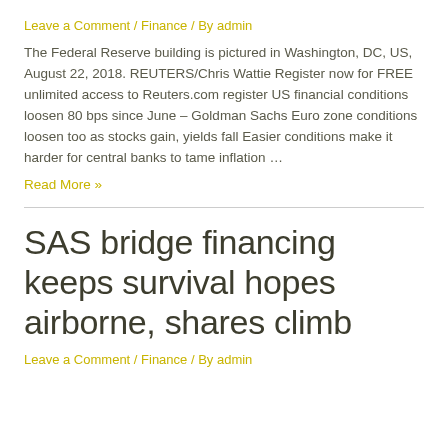Leave a Comment / Finance / By admin
The Federal Reserve building is pictured in Washington, DC, US, August 22, 2018. REUTERS/Chris Wattie Register now for FREE unlimited access to Reuters.com register US financial conditions loosen 80 bps since June – Goldman Sachs Euro zone conditions loosen too as stocks gain, yields fall Easier conditions make it harder for central banks to tame inflation …
Read More »
SAS bridge financing keeps survival hopes airborne, shares climb
Leave a Comment / Finance / By admin